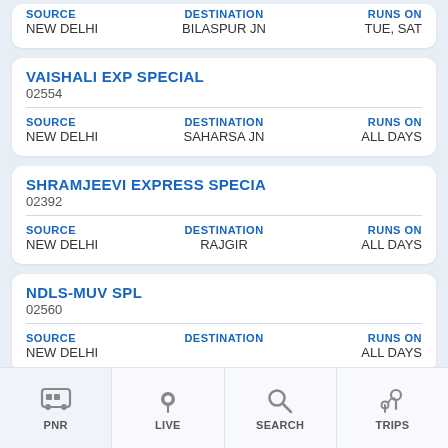SOURCE: NEW DELHI | DESTINATION: BILASPUR JN | RUNS ON: TUE, SAT
VAISHALI EXP SPECIAL 02554 | SOURCE: NEW DELHI | DESTINATION: SAHARSA JN | RUNS ON: ALL DAYS
SHRAMJEEVI EXPRESS SPECIA 02392 | SOURCE: NEW DELHI | DESTINATION: RAJGIR | RUNS ON: ALL DAYS
NDLS-MUV SPL 02560 | SOURCE: NEW DELHI | DESTINATION: | RUNS ON: ALL DAYS
BIHAR KRANTI EXP 02560 | SOURCE: (partial)
PNR | LIVE | SEARCH | TRIPS